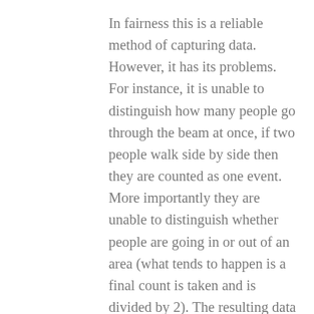In fairness this is a reliable method of capturing data. However, it has its problems. For instance, it is unable to distinguish how many people go through the beam at once, if two people walk side by side then they are counted as one event. More importantly they are unable to distinguish whether people are going in or out of an area (what tends to happen is a final count is taken and is divided by 2). The resulting data would then be inputted into a spreadsheet manually.